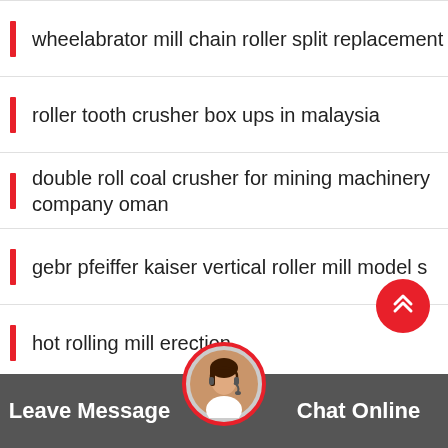wheelabrator mill chain roller split replacement
roller tooth crusher box ups in malaysia
double roll coal crusher for mining machinery company oman
gebr pfeiffer kaiser vertical roller mill model s
hot rolling mill erection
single roll crusher feeding arrangement instructions
standard diameter for roller mill shafting for sale
high pressure gold mining equipment two smooth roller crusher
roller tooth crusher job hold
[Figure (illustration): Red circular scroll-to-top button with double up chevron arrows]
[Figure (photo): Circular avatar photo of a woman with headset for customer support chat widget]
Leave Message    Chat Online